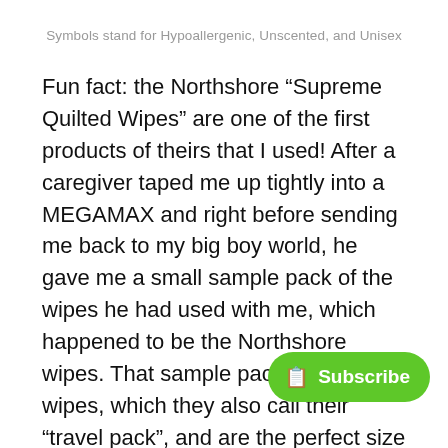Symbols stand for Hypoallergenic, Unscented, and Unisex
Fun fact: the Northshore “Supreme Quilted Wipes” are one of the first products of theirs that I used! After a caregiver taped me up tightly into a MEGAMAX and right before sending me back to my big boy world, he gave me a small sample pack of the wipes he had used with me, which happened to be the Northshore wipes. That sample pack was only 10 wipes, which they also call their “travel pack”, and are the perfect size to throw in a diaper bag for day trips. But now I buy them in the full 50 count pack, be obsessed with them.
I love these because they are extremely practical